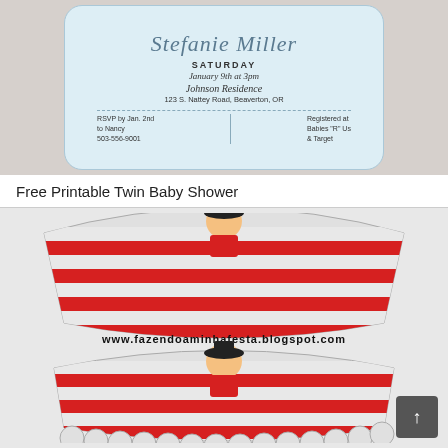[Figure (photo): Baby shower invitation card with cursive name 'Stefanie Miller', Saturday January 9th at 3pm, Johnson Residence, 123 S. Nattey Road, Beaverton, OR, RSVP details. Light blue card on wooden background.]
Free Printable Twin Baby Shower
[Figure (photo): Pirate-themed cupcake wrappers with red and white stripes and a cartoon girl pirate character. www.fazendoaminhafesta.blogspot.com watermark visible.]